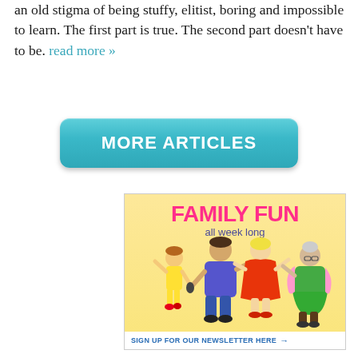an old stigma of being stuffy, elitist, boring and impossible to learn. The first part is true. The second part doesn't have to be. read more »
[Figure (other): Teal rounded rectangle button with white bold text reading 'MORE ARTICLES']
[Figure (illustration): Advertisement banner for 'FAMILY FUN all week long' with cartoon illustration of a family singing and dancing (man with microphone, woman in red dress, child, elderly woman), on a yellow gradient background. Footer reads 'SIGN UP FOR OUR NEWSLETTER HERE →']